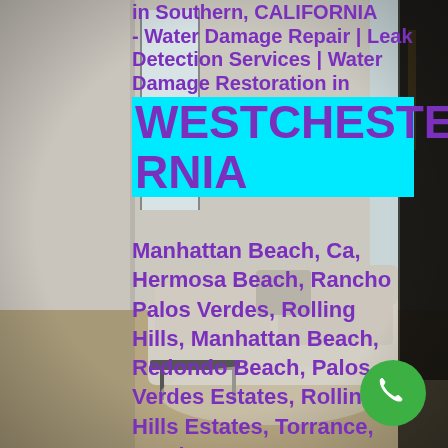[Figure (photo): Background photo of a bright modern living room interior with a white sofa, light wood floors, large windows, and a dark front door with natural light coming in.]
in Southern, CALIFORNIA - Water Damage Repair | Leak Detection Services | Water Damage Restoration in WESTCHESTER,CALIFORNIA
Manhattan Beach, Ca, Hermosa Beach, Rancho Palos Verdes, Rolling Hills, Manhattan Beach, Redondo Beach, Palos Verdes Estates, Rolling Hills Estates, Torrance, Lomita Ca